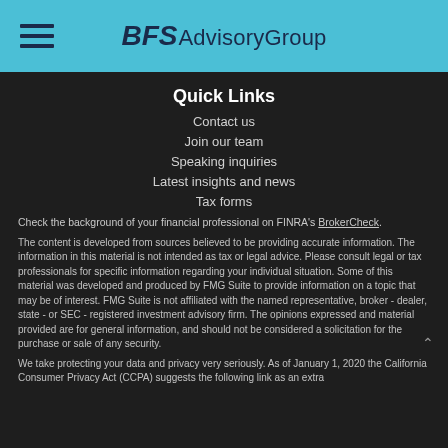BFS Advisory Group
Quick Links
Contact us
Join our team
Speaking inquiries
Latest insights and news
Tax forms
Check the background of your financial professional on FINRA's BrokerCheck.
The content is developed from sources believed to be providing accurate information. The information in this material is not intended as tax or legal advice. Please consult legal or tax professionals for specific information regarding your individual situation. Some of this material was developed and produced by FMG Suite to provide information on a topic that may be of interest. FMG Suite is not affiliated with the named representative, broker - dealer, state - or SEC - registered investment advisory firm. The opinions expressed and material provided are for general information, and should not be considered a solicitation for the purchase or sale of any security.
We take protecting your data and privacy very seriously. As of January 1, 2020 the California Consumer Privacy Act (CCPA) suggests the following link as an extra